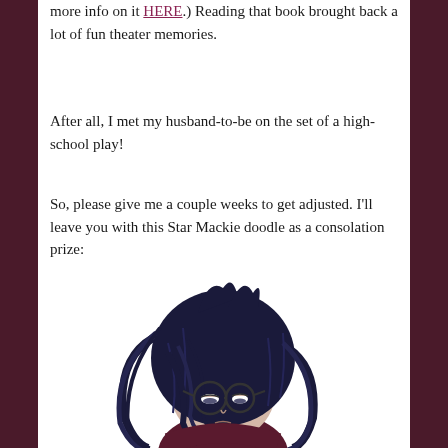more info on it HERE.) Reading that book brought back a lot of fun theater memories.
After all, I met my husband-to-be on the set of a high-school play!
So, please give me a couple weeks to get adjusted. I'll leave you with this Star Mackie doodle as a consolation prize:
[Figure (illustration): Anime-style cartoon illustration of a girl character named Star Mackie with long dark navy blue hair covering her face, wearing glasses, with a sleepy or tired expression, dressed in a dark purple/maroon top.]